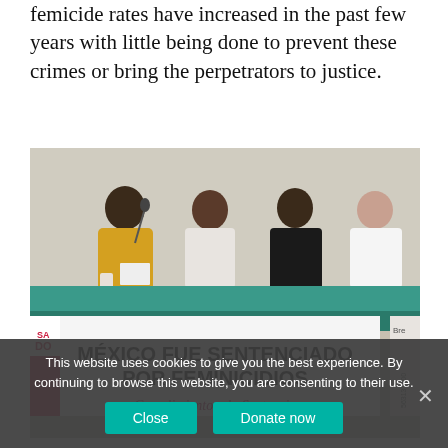femicide rates have increased in the past few years with little being done to prevent these crimes or bring the perpetrators to justice.
[Figure (photo): Four women seated at a table with a banner in Spanish reading 'MÉXICO FUE SENTENCIADO POR FEMINICIDIOS' and below 'Cumplimiento a la Sentencia'. One woman speaks into a microphone. A press conference or public event setting.]
This website uses cookies to give you the best experience. By continuing to browse this website, you are consenting to their use.